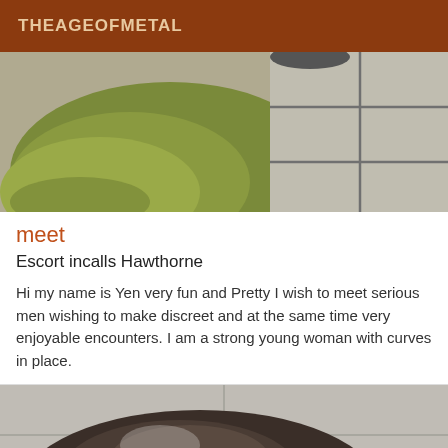THEAGEOFMETAL
[Figure (photo): Top portion of an image showing a green shag rug on the left and gray tiled floor/patio stones on the right]
meet
Escort incalls Hawthorne
Hi my name is Yen very fun and Pretty I wish to meet serious men wishing to make discreet and at the same time very enjoyable encounters. I am a strong young woman with curves in place.
[Figure (photo): Bottom portion showing a close-up of a person's dark hair and face, partially visible, with gray tile wall in background]